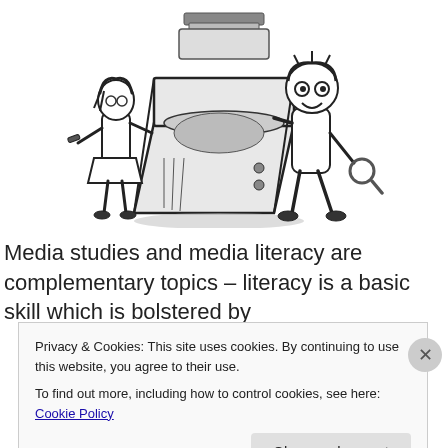[Figure (illustration): Black and white cartoon illustration of two children examining a television set or box. One child on the left holds a screwdriver and the other on the right leans over with a magnifying glass. The TV/box is open showing its interior.]
Media studies and media literacy are complementary topics – literacy is a basic skill which is bolstered by
Privacy & Cookies: This site uses cookies. By continuing to use this website, you agree to their use.
To find out more, including how to control cookies, see here: Cookie Policy